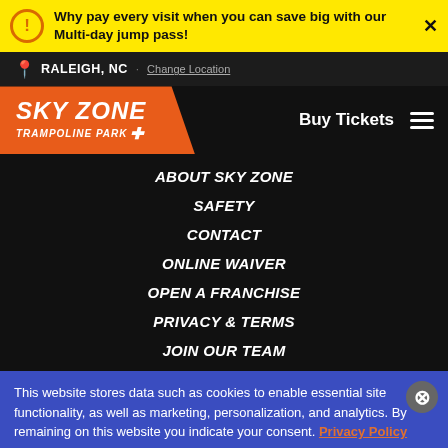Why pay every visit when you can save big with our Multi-day jump pass!
RALEIGH, NC · Change Location
[Figure (logo): Sky Zone Trampoline Park logo with orange background and white italic text]
ABOUT SKY ZONE
SAFETY
CONTACT
ONLINE WAIVER
OPEN A FRANCHISE
PRIVACY & TERMS
JOIN OUR TEAM
This website stores data such as cookies to enable essential site functionality, as well as marketing, personalization, and analytics. By remaining on this website you indicate your consent. Privacy Policy